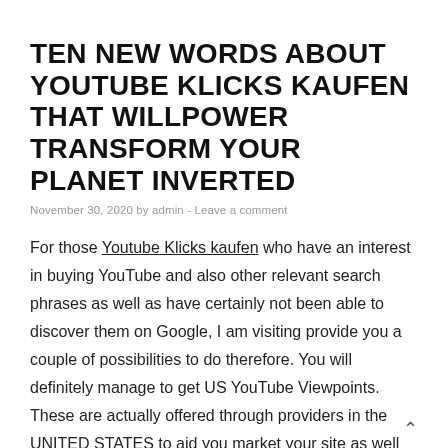TEN NEW WORDS ABOUT YOUTUBE KLICKS KAUFEN THAT WILLPOWER TRANSFORM YOUR PLANET INVERTED
November 30, 2020 by admin - Leave a comment
For those Youtube Klicks kaufen who have an interest in buying YouTube and also other relevant search phrases as well as have certainly not been able to discover them on Google, I am visiting provide you a couple of possibilities to do therefore. You will definitely manage to get US YouTube Viewpoints. These are actually offered through providers in the UNITED STATES to aid you market your site as well as advertise your videos.